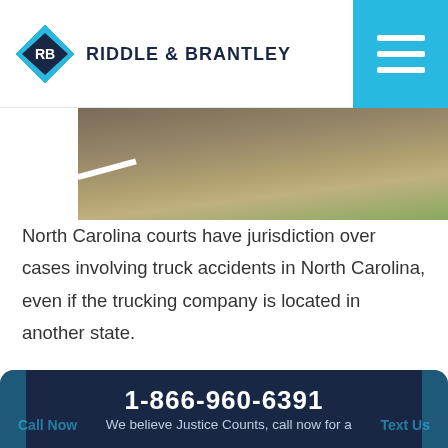[Figure (logo): Riddle & Brantley law firm logo with diamond RB emblem and firm name]
[Figure (photo): Road surface photo showing pavement with white line and gravel/grass shoulder]
North Carolina courts have jurisdiction over cases involving truck accidents in North Carolina, even if the trucking company is located in another state.
Reach out to Riddle & Brantley for expert guidance on a wide range of truck accident lawsuits.
There is never any obligation and you won't pay any attorney fees unless we win your case and you receive financial compensation.
1-866-960-6391
Call Now | Text Us
We believe Justice Counts, call now for a